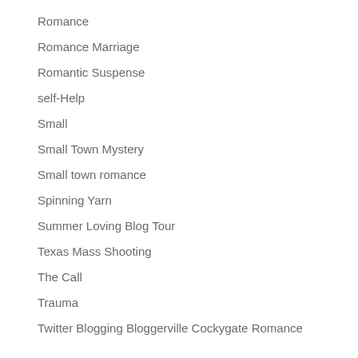Romance
Romance Marriage
Romantic Suspense
self-Help
Small
Small Town Mystery
Small town romance
Spinning Yarn
Summer Loving Blog Tour
Texas Mass Shooting
The Call
Trauma
Twitter Blogging Bloggerville Cockygate Romance